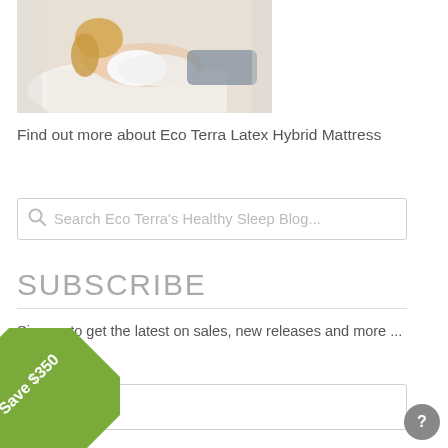[Figure (photo): Woman lying on a bed hugging a white pillow, smiling at the camera]
Find out more about Eco Terra Latex Hybrid Mattress
Search Eco Terra's Healthy Sleep Blog...
SUBSCRIBE
Sign up to get the latest on sales, new releases and more ...